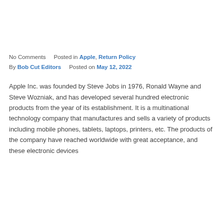No Comments     Posted in Apple, Return Policy
By Bob Cut Editors     Posted on May 12, 2022
Apple Inc. was founded by Steve Jobs in 1976, Ronald Wayne and Steve Wozniak, and has developed several hundred electronic products from the year of its establishment. It is a multinational technology company that manufactures and sells a variety of products including mobile phones, tablets, laptops, printers, etc. The products of the company have reached worldwide with great acceptance, and these electronic devices